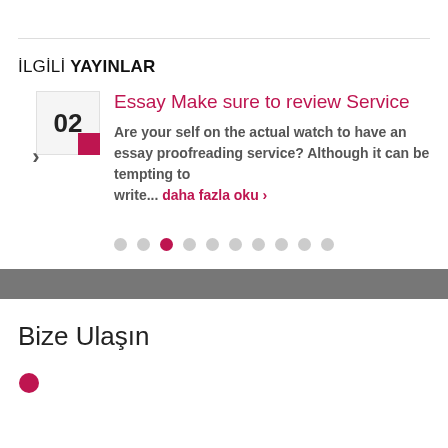İLGİLİ YAYINLAR
Essay Make sure to review Service
Are your self on the actual watch to have an essay proofreading service? Although it can be tempting to write... daha fazla oku ›
Bize Ulaşın